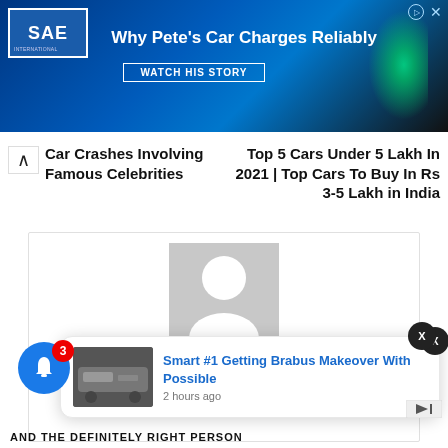[Figure (screenshot): SAE advertisement banner: Why Pete's Car Charges Reliably with WATCH HIS STORY button, blue gradient background with green charging glow, SAE logo top left, dismiss icons top right]
Car Crashes Involving Famous Celebrities
Top 5 Cars Under 5 Lakh In 2021 | Top Cars To Buy In Rs 3-5 Lakh in India
[Figure (photo): User profile card with grey placeholder avatar silhouette and name 'Shantanu']
Shantanu
[Figure (screenshot): Notification popup: Smart #1 Getting Brabus Makeover With Possible, 2 hours ago, with car thumbnail image. Blue bell icon with badge '3' on left. Close X button top right of popup.]
AND THE DEFINITELY RIGHT PERSON